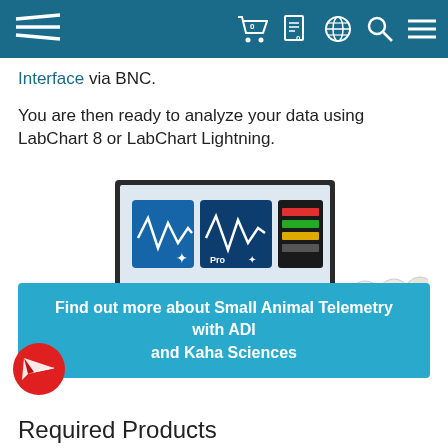ADI Instruments navigation header with logo and icons
Interface via BNC.

You are then ready to analyze your data using LabChart 8 or LabChart Lightning.
[Figure (photo): Product photo showing PowerLab data acquisition hardware unit with two stacked amplifiers, a large monitor displaying LabChart software icons (LabChart and LabChart Pro), a wireless router device on the left, and telemetry implant packages with receiver pads on the right (Kaha Sciences products).]
Find out more about Small Animal Telemetry with ADI and Kaha Sciences
[Figure (illustration): Red circular chat/message bubble icon with a white paper plane/send symbol inside it.]
Required Products